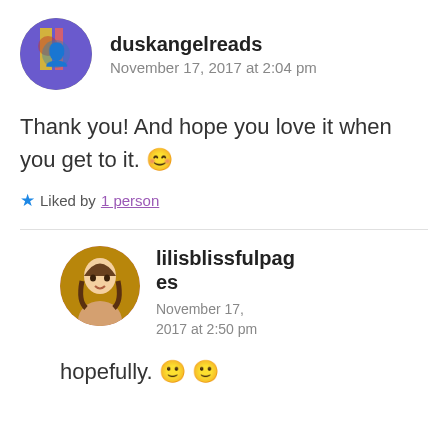duskangelreads
November 17, 2017 at 2:04 pm
Thank you! And hope you love it when you get to it. 😊
★ Liked by 1 person
lilisblissfulpages
November 17, 2017 at 2:50 pm
hopefully. 🙂 🙂